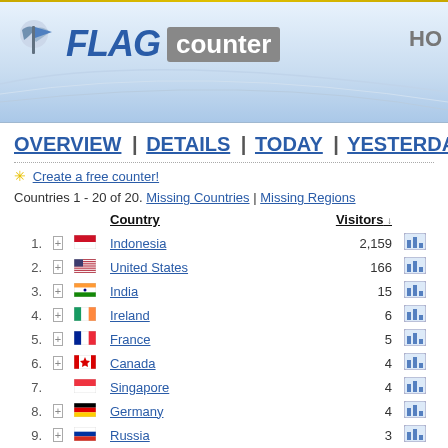[Figure (logo): Flag Counter logo with waving flag icon, bold blue 'FLAG' italic text, and grey 'counter' badge]
HO
OVERVIEW | DETAILS | TODAY | YESTERDAY |
✳ Create a free counter!
Countries 1 - 20 of 20. Missing Countries | Missing Regions
|  |  | Country | Visitors ↓ |  |
| --- | --- | --- | --- | --- |
| 1. | + | Indonesia | 2,159 | chart |
| 2. | + | United States | 166 | chart |
| 3. | + | India | 15 | chart |
| 4. | + | Ireland | 6 | chart |
| 5. | + | France | 5 | chart |
| 6. | + | Canada | 4 | chart |
| 7. |  | Singapore | 4 | chart |
| 8. | + | Germany | 4 | chart |
| 9. | + | Russia | 3 | chart |